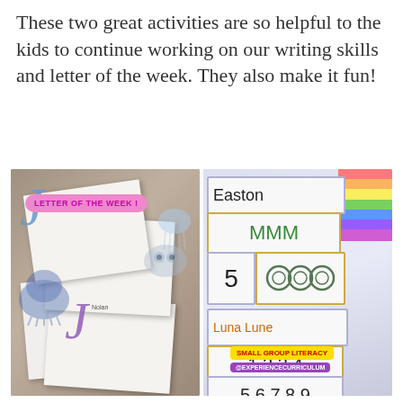These two great activities are so helpful to the kids to continue working on our writing skills and letter of the week. They also make it fun!
[Figure (photo): Left photo showing children's 'Letter of the Week' activity pages with the letter J drawn and decorated with jellyfish, owl, and whale illustrations. A pink badge reads 'LETTER OF THE WEEK!' and a child's name 'Nolan' is visible.]
[Figure (photo): Right photo showing small group literacy activity cards. Cards show the name 'Easton', the letter pattern 'MMM', the number 5, circle drawings, the name 'Luna Lune', and number sequences 1234 and 56789. Badges read 'SMALL GROUP LITERACY' and '@EXPERIENCECURRICULUM'. Rainbow decorations visible.]